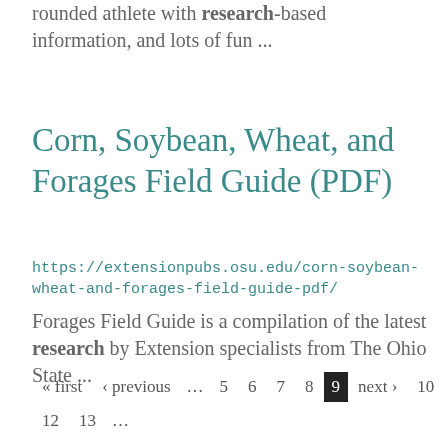rounded athlete with research-based information, and lots of fun ...
Corn, Soybean, Wheat, and Forages Field Guide (PDF)
https://extensionpubs.osu.edu/corn-soybean-wheat-and-forages-field-guide-pdf/
Forages Field Guide is a compilation of the latest research by Extension specialists from The Ohio State ...
« first ‹ previous … 5 6 7 8 9 next › 10 last »
12 13 …